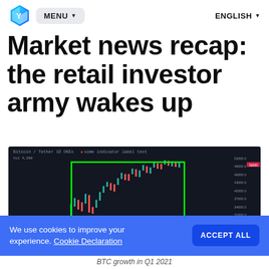MENU  ENGLISH
Market news recap: the retail investor army wakes up
[Figure (screenshot): Bitcoin/Tether candlestick chart on dark background showing BTC price growth in Q1 2021, with a green rectangle highlighting the main uptrend region. Price axis on right shows values from approximately 17000 to 52000.]
We use cookies to improve your experience. Cookie Declaration
BTC growth in Q1 2021